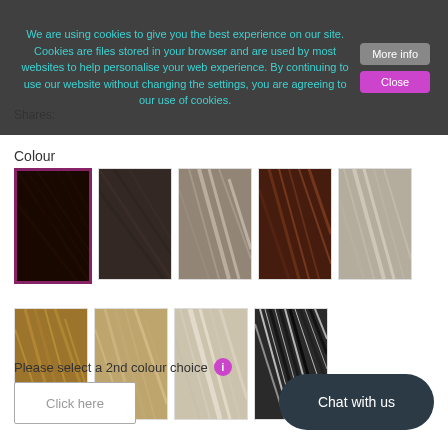We are using cookies to give you the best experience on our site. Cookies are files stored in your browser and are used by most websites to help personalise your web experience. By continuing to use our website without changing the settings, you are agreeing to our use of cookies.
Shares:
Colour
[Figure (photo): Grid of 9 hair colour swatches showing various shades from dark brown/black to blonde, with the first swatch (dark brown) selected with a pink/magenta border]
Please select a 2nd colour choice
Click here
Chat with us